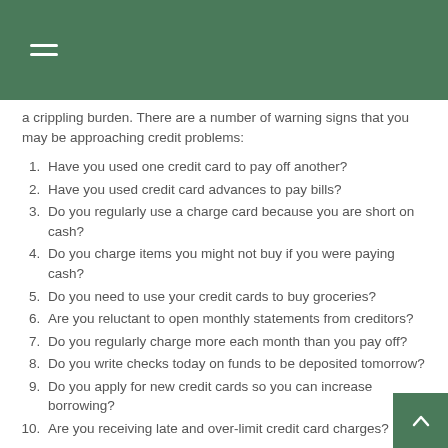a crippling burden. There are a number of warning signs that you may be approaching credit problems:
Have you used one credit card to pay off another?
Have you used credit card advances to pay bills?
Do you regularly use a charge card because you are short on cash?
Do you charge items you might not buy if you were paying cash?
Do you need to use your credit cards to buy groceries?
Are you reluctant to open monthly statements from creditors?
Do you regularly charge more each month than you pay off?
Do you write checks today on funds to be deposited tomorrow?
Do you apply for new credit cards so you can increase borrowing?
Are you receiving late and over-limit credit card charges?